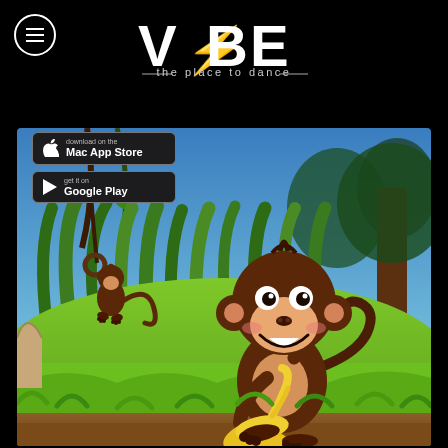[Figure (logo): VIBE logo with lightning bolt in the V, tagline 'the place to dance' with decorative lines, on black background]
[Figure (other): Two app store buttons: Mac App Store and Google Play, on black background]
[Figure (illustration): Cartoon jungle scene with a smiling monkey holding a bunch of bananas, sitting on green grass with tall green plants in the background and another monkey swinging in the upper left]